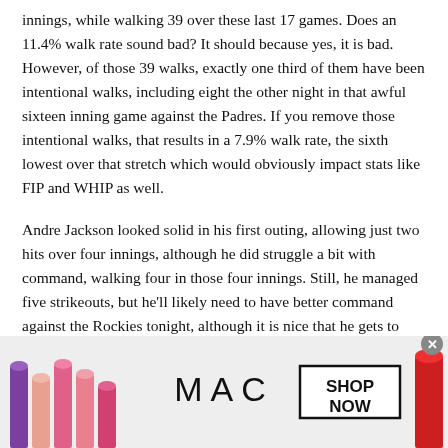innings, while walking 39 over these last 17 games. Does an 11.4% walk rate sound bad? It should because yes, it is bad. However, of those 39 walks, exactly one third of them have been intentional walks, including eight the other night in that awful sixteen inning game against the Padres. If you remove those intentional walks, that results in a 7.9% walk rate, the sixth lowest over that stretch which would obviously impact stats like FIP and WHIP as well.
Andre Jackson looked solid in his first outing, allowing just two hits over four innings, although he did struggle a bit with command, walking four in those four innings. Still, he managed five strikeouts, but he'll likely need to have better command against the Rockies tonight, although it is nice that he gets to face two poor offenses to start his career.
[Figure (photo): MAC Cosmetics advertisement banner showing colorful lipsticks on the left and right, MAC logo in the center, and a 'SHOP NOW' button in a black border box. A close/dismiss button appears at the top right of the ad.]